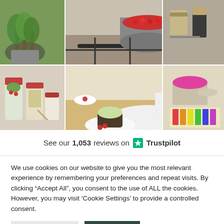[Figure (photo): Grid of 6 lifestyle/product photos: plant in pot, pot with berries on stove, pantry items, food jars with salads, white mixing bowl with cake and berries, paint tins and color swatches]
See our 1,053 reviews on ★ Trustpilot
We use cookies on our website to give you the most relevant experience by remembering your preferences and repeat visits. By clicking "Accept All", you consent to the use of ALL the cookies. However, you may visit 'Cookie Settings' to provide a controlled consent.
Cookie Settings
Accept All